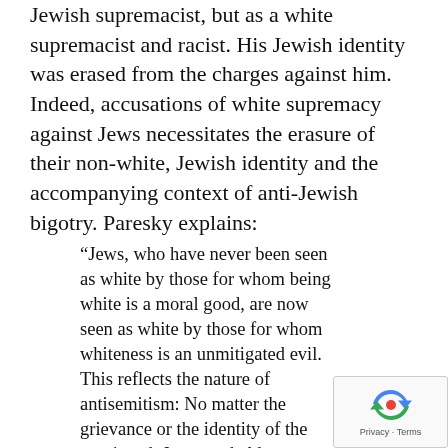Jewish supremacist, but as a white supremacist and racist. His Jewish identity was erased from the charges against him. Indeed, accusations of white supremacy against Jews necessitates the erasure of their non-white, Jewish identity and the accompanying context of anti-Jewish bigotry. Paresky explains:
“Jews, who have never been seen as white by those for whom being white is a moral good, are now seen as white by those for whom whiteness is an unmitigated evil. This reflects the nature of antisemitism: No matter the grievance or the identity of the aggrieved, Jews are held responsible. Critical race theory does not merely make it easy to demonize Jews using the language of social justice; it makes it difficult not to.”